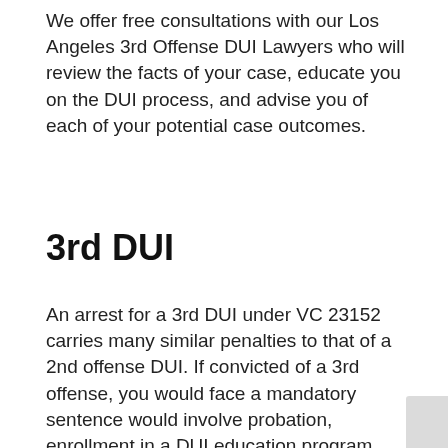We offer free consultations with our Los Angeles 3rd Offense DUI Lawyers who will review the facts of your case, educate you on the DUI process, and advise you of each of your potential case outcomes.
3rd DUI
An arrest for a 3rd DUI under VC 23152 carries many similar penalties to that of a 2nd offense DUI. If convicted of a 3rd offense, you would face a mandatory sentence would involve probation, enrollment in a DUI education program, driver's license suspension, fines, and/or community service